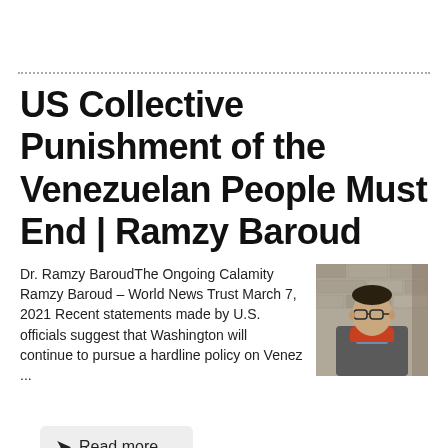US Collective Punishment of the Venezuelan People Must End | Ramzy Baroud
Dr. Ramzy BaroudThe Ongoing Calamity Ramzy Baroud – World News Trust March 7, 2021 Recent statements made by U.S. officials suggest that Washington will continue to pursue a hardline policy on Venez ...
[Figure (photo): Photo of a man with glasses and a red scarf, in front of a stone wall background]
Read more...